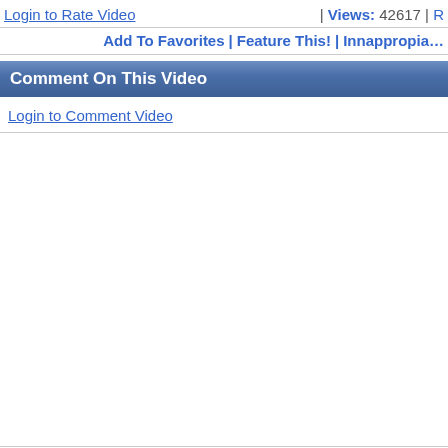Login to Rate Video | Views: 42617 | R…
Add To Favorites | Feature This! | Innappropia…
Comment On This Video
Login to Comment Video